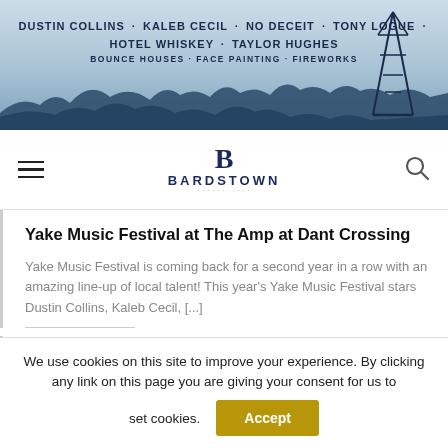[Figure (illustration): Banner advertisement for Yake Music Festival featuring artist names: DUSTIN COLLINS, KALEB CECIL, NO DECEIT, TONY LOGUE, HOTEL WHISKEY, TAYLOR HUGHES, BOUNCE HOUSES, FACE PAINTING, FIREWORKS. Blue sky background with mountain silhouette and oil derrick tower.]
BARDSTOWN
Yake Music Festival at The Amp at Dant Crossing
Yake Music Festival is coming back for a second year in a row with an amazing line-up of local talent!  This year's Yake Music Festival stars Dustin Collins, Kaleb Cecil, [...]
Share this:
We use cookies on this site to improve your experience. By clicking any link on this page you are giving your consent for us to set cookies.